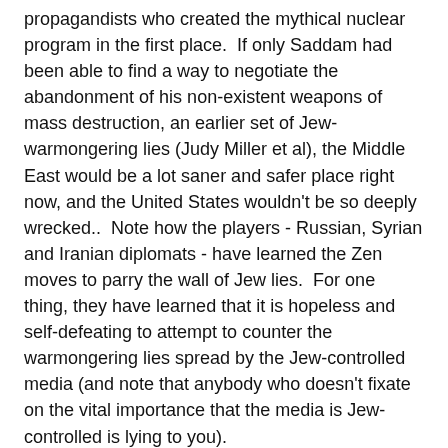propagandists who created the mythical nuclear program in the first place.  If only Saddam had been able to find a way to negotiate the abandonment of his non-existent weapons of mass destruction, an earlier set of Jew-warmongering lies (Judy Miller et al), the Middle East would be a lot saner and safer place right now, and the United States wouldn't be so deeply wrecked..  Note how the players - Russian, Syrian and Iranian diplomats - have learned the Zen moves to parry the wall of Jew lies.  For one thing, they have learned that it is hopeless and self-defeating to attempt to counter the warmongering lies spread by the Jew-controlled media (and note that anybody who doesn't fixate on the vital importance that the media is Jew-controlled is lying to you).
On the other hand:  "Israel's 'Successful' Defeat on Iran" Excellent background on Jewish machinations:
"Iran was not an Israeli issue in Washington back in the 1980s, despite the hostile rhetoric of Iran's then-ruler Ayatollah Ruhollah Khomeini. On the contrary, Israel spent significant diplomatic capital in Washington at the time trying to convince the Reagan administration to not cut to Tehran...